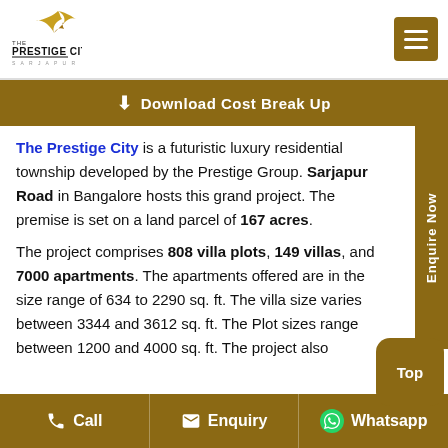[Figure (logo): The Prestige City logo with eagle/bird graphic and SARJAPUR subtitle]
⬇ Download Cost Break Up
The Prestige City is a futuristic luxury residential township developed by the Prestige Group. Sarjapur Road in Bangalore hosts this grand project. The premise is set on a land parcel of 167 acres.

The project comprises 808 villa plots, 149 villas, and 7000 apartments. The apartments offered are in the size range of 634 to 2290 sq. ft. The villa size varies between 3344 and 3612 sq. ft. The Plot sizes range between 1200 and 4000 sq. ft. The project also
Call   Enquiry   Whatsapp